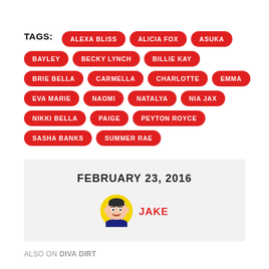TAGS: ALEXA BLISS, ALICIA FOX, ASUKA, BAYLEY, BECKY LYNCH, BILLIE KAY, BRIE BELLA, CARMELLA, CHARLOTTE, EMMA, EVA MARIE, NAOMI, NATALYA, NIA JAX, NIKKI BELLA, PAIGE, PEYTON ROYCE, SASHA BANKS, SUMMER RAE
FEBRUARY 23, 2016
[Figure (illustration): Cartoon avatar of Jake, a person with dark hair wearing a navy blue shirt, yellow circle background]
JAKE
ALSO ON DIVA DIRT